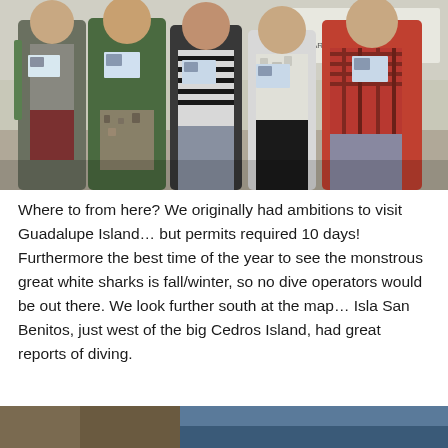[Figure (photo): Five people standing outdoors holding up what appear to be passports or permits. From left to right: person in gray shirt with backpack, person in green polo with patterned shorts, person in black and white striped shirt, woman in white top and black pants, person in red plaid shirt. Sign in background appears to reference Mexico / SAGARPA.]
Where to from here? We originally had ambitions to visit Guadalupe Island… but permits required 10 days! Furthermore the best time of the year to see the monstrous great white sharks is fall/winter, so no dive operators would be out there. We look further south at the map… Isla San Benitos, just west of the big Cedros Island, had great reports of diving.
[Figure (photo): Partial view of a second photograph at the bottom of the page, mostly cropped. Shows what appears to be an outdoor scene with blue/teal tones.]